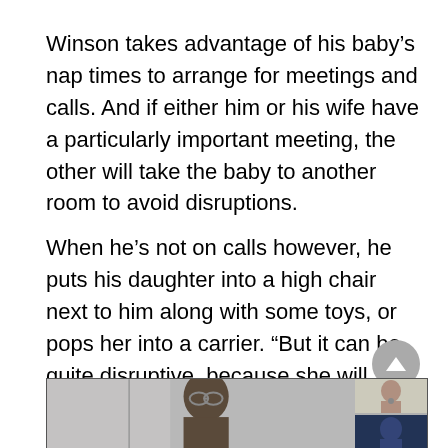Winson takes advantage of his baby's nap times to arrange for meetings and calls. And if either him or his wife have a particularly important meeting, the other will take the baby to another room to avoid disruptions.
When he's not on calls however, he puts his daughter into a high chair next to him along with some toys, or pops her into a carrier. “But it can be quite disruptive, because she will want to keep touching my laptop,” he says.
[Figure (screenshot): Screenshot of a video call showing a woman with glasses in the main view, and two smaller thumbnail panels on the right sidebar.]